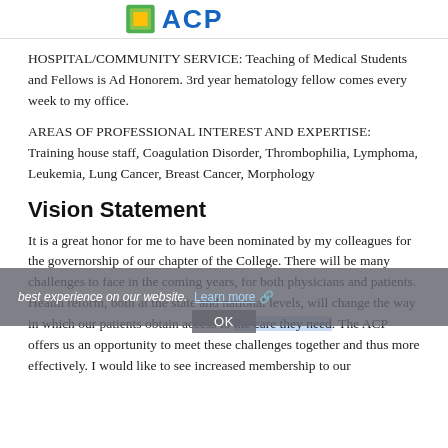[Figure (logo): ACP logo with green and gold emblem and blue ACP text at top of page]
HOSPITAL/COMMUNITY SERVICE: Teaching of Medical Students and Fellows is Ad Honorem. 3rd year hematology fellow comes every week to my office.
AREAS OF PROFESSIONAL INTEREST AND EXPERTISE: Training house staff, Coagulation Disorder, Thrombophilia, Lymphoma, Leukemia, Lung Cancer, Breast Cancer, Morphology
Vision Statement
It is a great honor for me to have been nominated by my colleagues for the governorship of our chapter of the College. There will be many challenges to face in the coming years, for both physicians and patients. Health reform, both at the state and national levels, will change the way in which our patients obtain access to the care they need. The ACP offers us an opportunity to meet these challenges together and thus more effectively. I would like to see increased membership to our